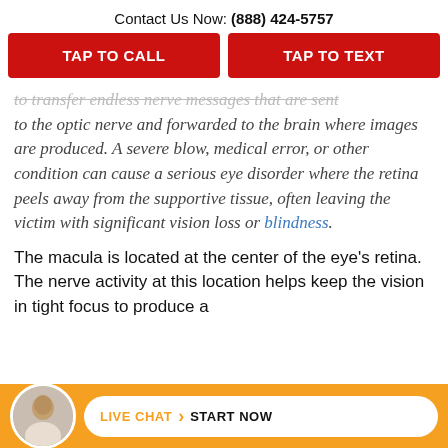Contact Us Now: (888) 424-5757
TAP TO CALL
TAP TO TEXT
to transfer endless nerve messages that are sent to the optic nerve and forwarded to the brain where images are produced. A severe blow, medical error, or other condition can cause a serious eye disorder where the retina peels away from the supportive tissue, often leaving the victim with significant vision loss or blindness.
The macula is located at the center of the eye's retina. The nerve activity at this location helps keep the vision in tight focus to produce a
LIVE CHAT > START NOW